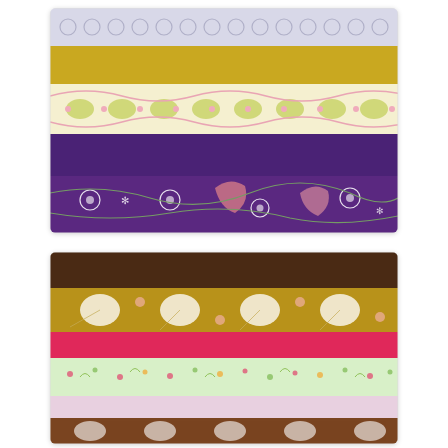[Figure (photo): Stacked folded fabric rolls showing layers of various patterns and colors: white with circles pattern on top, solid mustard yellow, floral yellow-green and pink on white, solid purple, and purple paisley/floral pattern at bottom.]
[Figure (photo): Stacked folded fabric rolls showing layers: solid dark brown on top, golden/mustard floral print with large white flowers, solid hot pink/fuchsia, light green small floral print, solid pale pink/lavender, and brown floral print at bottom (partially visible).]